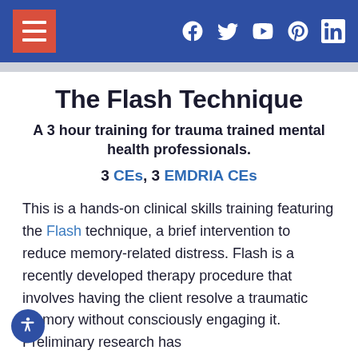Navigation header with hamburger menu and social icons (Facebook, Twitter, YouTube, Pinterest, LinkedIn)
The Flash Technique
A 3 hour training for trauma trained mental health professionals.
3 CEs, 3 EMDRIA CEs
This is a hands-on clinical skills training featuring the Flash technique, a brief intervention to reduce memory-related distress. Flash is a recently developed therapy procedure that involves having the client resolve a traumatic memory without consciously engaging it. Preliminary research has